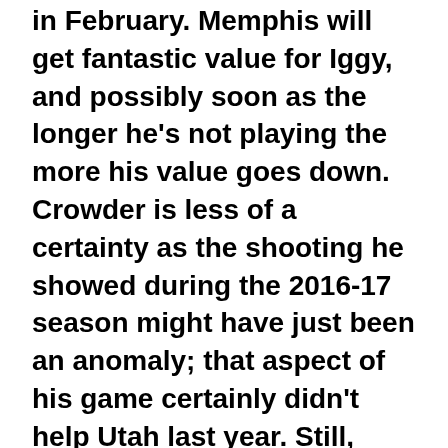in February. Memphis will get fantastic value for Iggy, and possibly soon as the longer he's not playing the more his value goes down. Crowder is less of a certainty as the shooting he showed during the 2016-17 season might have just been an anomaly; that aspect of his game certainly didn't help Utah last year. Still, he's a lengthy defender, and that's one of the more valuable commodities in the league right now.
By playing all their youth (Minus Jonas Valancuinas. That contract was very strange), Memphis is seeing who their future core pieces are. Aside from JJJ and Morant, those are pretty undetermined.